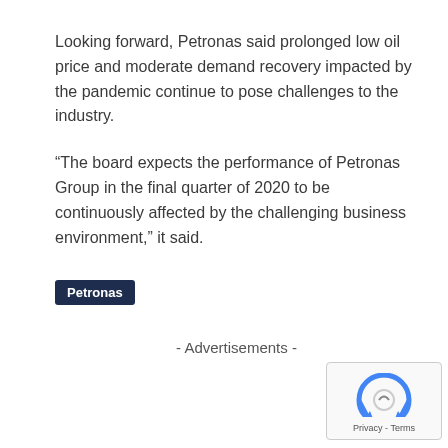Looking forward, Petronas said prolonged low oil price and moderate demand recovery impacted by the pandemic continue to pose challenges to the industry.
“The board expects the performance of Petronas Group in the final quarter of 2020 to be continuously affected by the challenging business environment,” it said.
Petronas
- Advertisements -